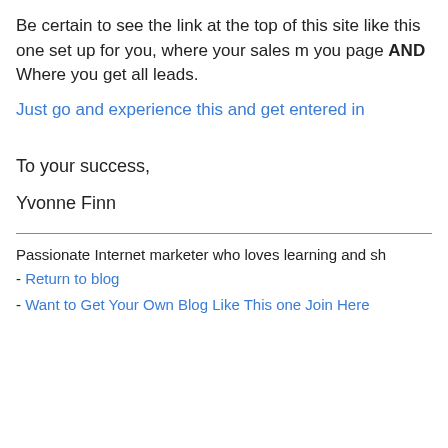Be certain to see the link at the top of this site like this one set up for you, where your sales m you page AND Where you get all leads.
Just go and experience this and get entered in
To your success,
Yvonne Finn
Passionate Internet marketer who loves learning and sh
- Return to blog
- Want to Get Your Own Blog Like This one Join Here